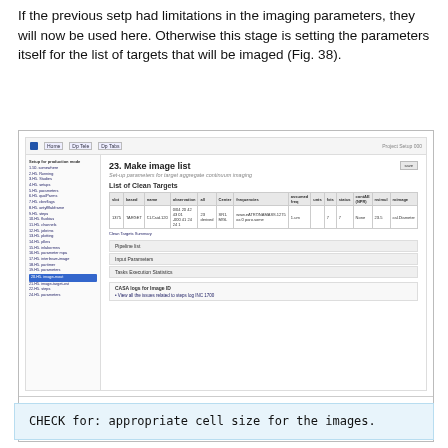If the previous setp had limitations in the imaging parameters, they will now be used here. Otherwise this stage is setting the parameters itself for the list of targets that will be imaged (Fig. 38).
[Figure (screenshot): Screenshot of a web application showing '23. Make image list' page with subtitle 'Set-up parameters for target aggregate continuum imaging'. Contains a 'List of Clean Targets' table with column headers and one data row showing target information. Below the table are accordion sections: 'Pipeline list', 'Input Parameters', 'Tasks Execution Statistics', and 'CASA logs for Image ID' with a link.]
Fig. 38: Makeimlist for the target sources.
CHECK for: appropriate cell size for the images.